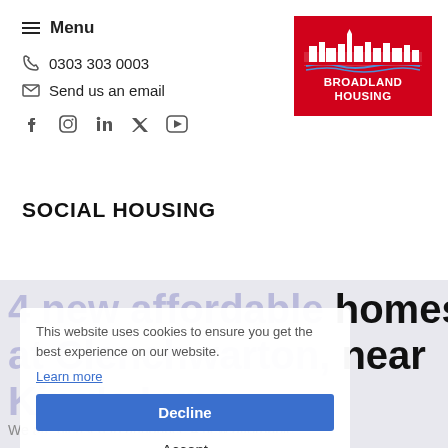≡ Menu
0303 303 0003
Send us an email
[Figure (logo): Social media icons: Facebook, Instagram, LinkedIn, Twitter/X, YouTube]
[Figure (logo): Broadland Housing logo — white building/cityscape on red background with text BROADLAND HOUSING]
SOCIAL HOUSING
This website uses cookies to ensure you get the best experience on our website.
Learn more
Decline
Accept
Cookie Preferences
4 new affordable homes at Clenchwarton, near King's Lynn
We are pleased to announce 4 new affordable